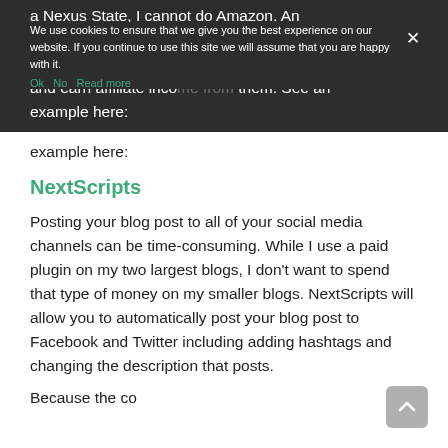a Nexus State, I cannot do Amazon. An alternative is Prosperent Suite which will allow you to insert products in your blog post for free and earn affiliate income from them. See an example here:
We use cookies to ensure that we give you the best experience on our website. If you continue to use this site we will assume that you are happy with it. Ok No Read more
NextScripts
Posting your blog post to all of your social media channels can be time-consuming. While I use a paid plugin on my two largest blogs, I don't want to spend that type of money on my smaller blogs. NextScripts will allow you to automatically post your blog post to Facebook and Twitter including adding hashtags and changing the description that posts.
Because the cost of purchasing that type of